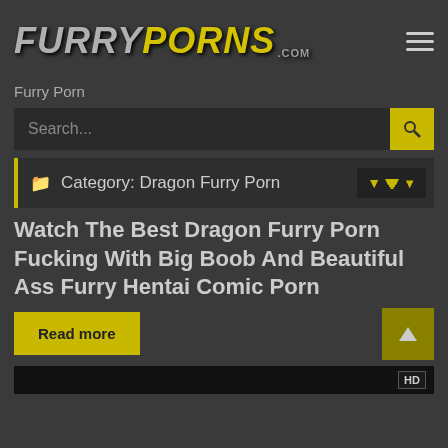FURRYPORNS.COM
Furry Porn
Search...
Category: Dragon Furry Porn
Watch The Best Dragon Furry Porn Fucking With Big Boob And Beautiful Ass Furry Hentai Comic Porn
Read more
[Figure (screenshot): Bottom video strip with HD badge]